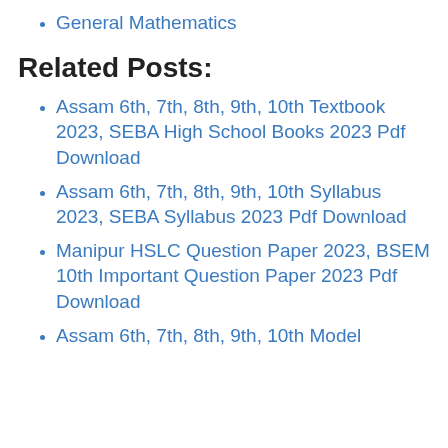General Mathematics
Related Posts:
Assam 6th, 7th, 8th, 9th, 10th Textbook 2023, SEBA High School Books 2023 Pdf Download
Assam 6th, 7th, 8th, 9th, 10th Syllabus 2023, SEBA Syllabus 2023 Pdf Download
Manipur HSLC Question Paper 2023, BSEM 10th Important Question Paper 2023 Pdf Download
Assam 6th, 7th, 8th, 9th, 10th Model